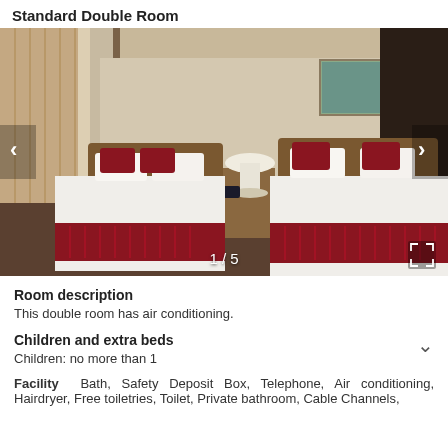Standard Double Room
[Figure (photo): Hotel standard double room with two beds dressed in white linen with red/maroon patterned decorative runners and pillows. Wooden headboards, nightstand with white lamp between beds, curtains visible on left, painting on wall at back right. Photo counter shows 1/5.]
Room description
This double room has air conditioning.
Children and extra beds
Children: no more than 1
Facility  Bath, Safety Deposit Box, Telephone, Air conditioning, Hairdryer, Free toiletries, Toilet, Private bathroom, Cable Channels,